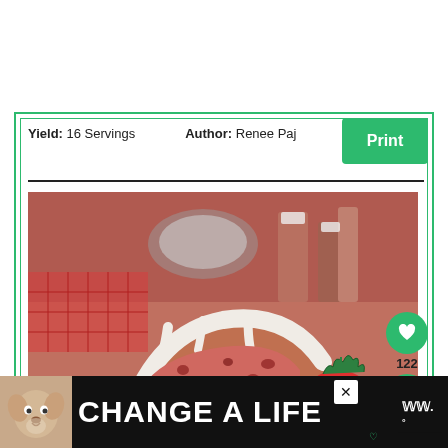Yield: 16 Servings    Author: Renee Paj
Print
[Figure (photo): Close-up photo of a sliced strawberry bundt cake with white glaze drizzled on top, showing pink/red interior with strawberry pieces. A fresh strawberry is visible in the foreground.]
[Figure (infographic): Ad banner with dog image and text CHANGE A LIFE on dark background]